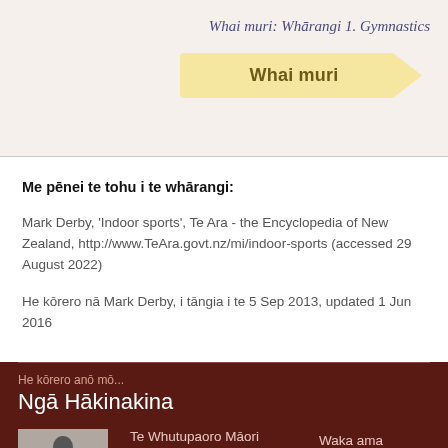Whai muri: Whārangi 1. Gymnastics
Whai muri
Me pēnei te tohu i te whārangi:
Mark Derby, 'Indoor sports', Te Ara - the Encyclopedia of New Zealand, http://www.TeAra.govt.nz/mi/indoor-sports (accessed 29 August 2022)
He kōrero nā Mark Derby, i tāngia i te 5 Sep 2013, updated 1 Jun 2016
He kōrero anō mō...
Ngā Hākinakina
Te Whutupaoro Māori
Waka ama